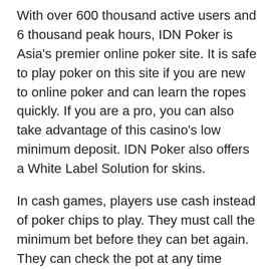With over 600 thousand active users and 6 thousand peak hours, IDN Poker is Asia's premier online poker site. It is safe to play poker on this site if you are new to online poker and can learn the ropes quickly. If you are a pro, you can also take advantage of this casino's low minimum deposit. IDN Poker also offers a White Label Solution for skins.
In cash games, players use cash instead of poker chips to play. They must call the minimum bet before they can bet again. They can check the pot at any time during the betting round, but only after they have bet at least the minimum. To continue, players must “call” a new raise or “bet”.
Online poker venues are not prone to high overhead costs, so they are less expensive than land-based venues. Moreover, they do not have to pay interest on the money